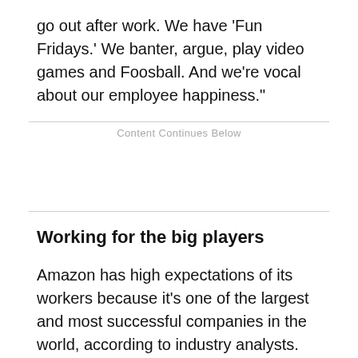go out after work. We have 'Fun Fridays.' We banter, argue, play video games and Foosball. And we're vocal about our employee happiness."
Content Continues Below
Working for the big players
Amazon has high expectations of its workers because it's one of the largest and most successful companies in the world, according to industry analysts.
The company, which started as an online book